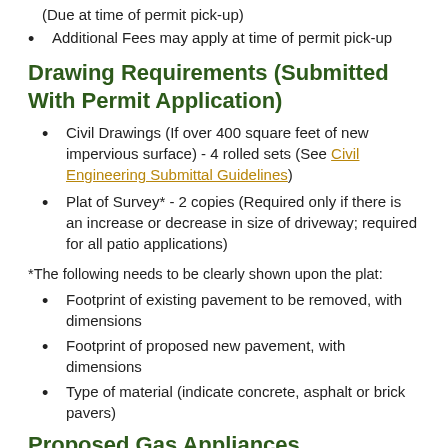(Due at time of permit pick-up)
Additional Fees may apply at time of permit pick-up
Drawing Requirements (Submitted With Permit Application)
Civil Drawings (If over 400 square feet of new impervious surface) - 4 rolled sets (See Civil Engineering Submittal Guidelines)
Plat of Survey* - 2 copies (Required only if there is an increase or decrease in size of driveway; required for all patio applications)
*The following needs to be clearly shown upon the plat:
Footprint of existing pavement to be removed, with dimensions
Footprint of proposed new pavement, with dimensions
Type of material (indicate concrete, asphalt or brick pavers)
Proposed Gas Appliances
If you are replacing a furnace (or similar fire pit) into the installed...